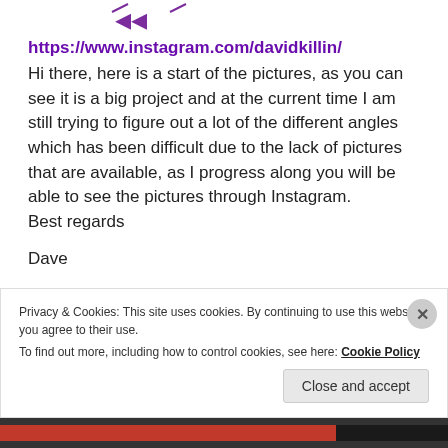[Figure (logo): Purple arrow-shaped logo at top center]
https://www.instagram.com/davidkillin/
Hi there, here is a start of the pictures, as you can see it is a big project and at the current time I am still trying to figure out a lot of the different angles which has been difficult due to the lack of pictures that are available, as I progress along you will be able to see the pictures through Instagram.
Best regards
Dave
Privacy & Cookies: This site uses cookies. By continuing to use this website, you agree to their use.
To find out more, including how to control cookies, see here: Cookie Policy
Close and accept